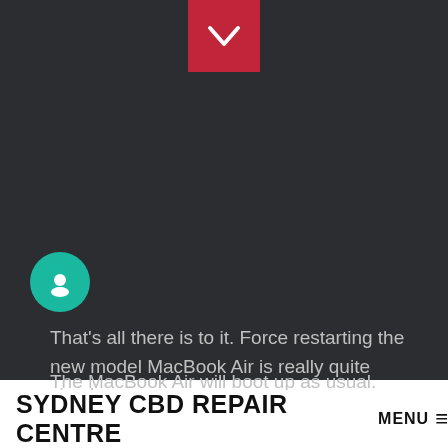[Figure (other): Red dropdown chevron button centered at the top of a dark background]
[Figure (other): Teal circular chat/user icon on dark background, positioned left side]
That's all there is to it. Force restarting the new model MacBook Air is really quite simple.
The MacBook Air will boot up as usual.
SYDNEY CBD REPAIR CENTRE MENU ≡